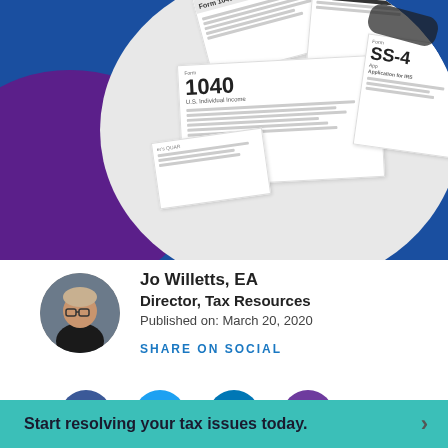[Figure (photo): Photo of multiple IRS tax forms (1040, 1040EZ, 4506-T, SS-4) fanned out, overlaid on a circular crop with blue and purple background arcs]
Jo Willetts, EA
Director, Tax Resources
Published on: March 20, 2020
SHARE ON SOCIAL
[Figure (infographic): Four social media icon circles: Facebook (blue), Twitter (light blue), LinkedIn (dark blue), Email/envelope (purple)]
Start resolving your tax issues today.